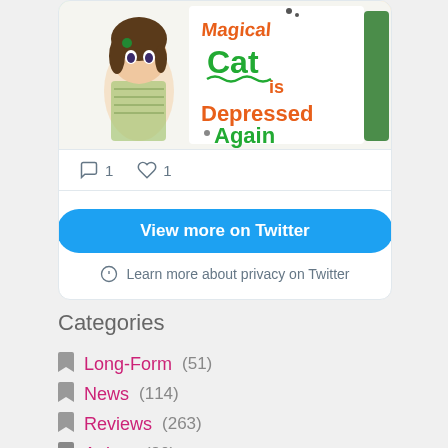[Figure (screenshot): Partial Twitter/social media embed card showing a manga book cover image ('Magical Cat is Depressed Again') with an anime girl illustration and orange/green text, with comment count 1 and like count 1 at the bottom]
View more on Twitter
Learn more about privacy on Twitter
Categories
Long-Form (51)
News (114)
Reviews (263)
Anime (80)